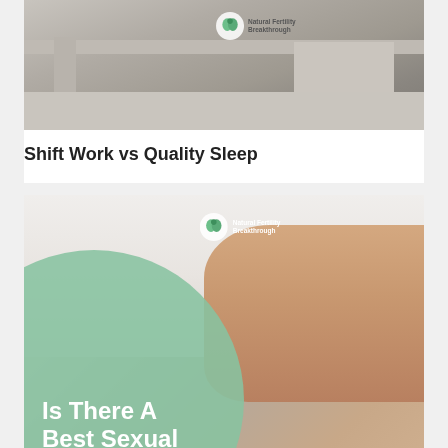[Figure (photo): Photo of bedroom furniture/shelving with Natural Fertility Breakthrough logo badge overlay]
Shift Work vs Quality Sleep
[Figure (photo): Close-up photo of hands gripping white bedsheets with green circular overlay text reading 'Is There A Best Sexual Position for...' and Natural Fertility Breakthrough logo. Privacy & Cookies Policy bar at bottom.]
Privacy & Cookies Policy